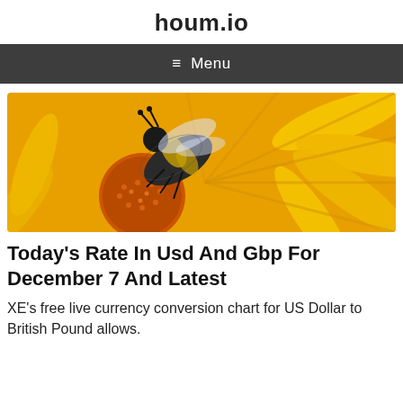houm.io
≡ Menu
[Figure (photo): Close-up photo of a honeybee on a bright orange/yellow flower (sunflower-like), showing detailed bee fur and flower petals.]
Today's Rate In Usd And Gbp For December 7 And Latest
XE's free live currency conversion chart for US Dollar to British Pound allows.